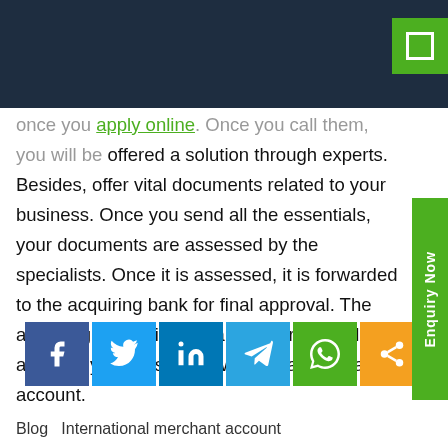once you apply online. Once you call them, you will be offered a solution through experts. Besides, offer vital documents related to your business. Once you send all the essentials, your documents are assessed by the specialists. Once it is assessed, it is forwarded to the acquiring bank for final approval. The acquiring bank will view all your credentials and finally because of it will offer a merchant account.
[Figure (other): Social share buttons: Facebook, Twitter, LinkedIn, Telegram, WhatsApp, Share]
Blog  International merchant account